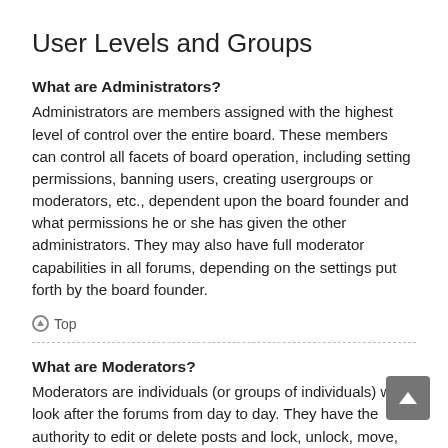User Levels and Groups
What are Administrators?
Administrators are members assigned with the highest level of control over the entire board. These members can control all facets of board operation, including setting permissions, banning users, creating usergroups or moderators, etc., dependent upon the board founder and what permissions he or she has given the other administrators. They may also have full moderator capabilities in all forums, depending on the settings put forth by the board founder.
Top
What are Moderators?
Moderators are individuals (or groups of individuals) who look after the forums from day to day. They have the authority to edit or delete posts and lock, unlock, move, delete and split topics in the forum they moderate.